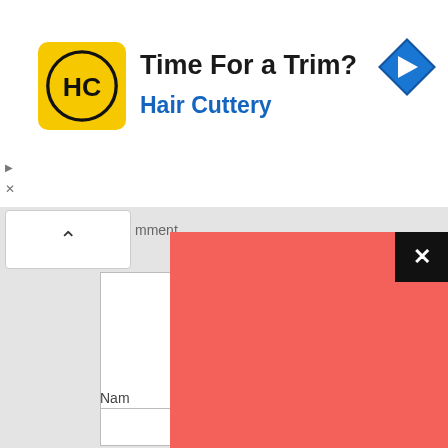[Figure (screenshot): Advertisement banner for Hair Cuttery with yellow logo, 'Time For a Trim?' headline in bold dark text, 'Hair Cuttery' subtitle in blue, navigation arrow icon top right, play and close icons on left side]
mment
[Figure (screenshot): Web form interface showing a comment textarea (white box), a Name field label with input box below it, and an Email label at bottom. A large red overlay panel with a black X close button covers the right portion of the form.]